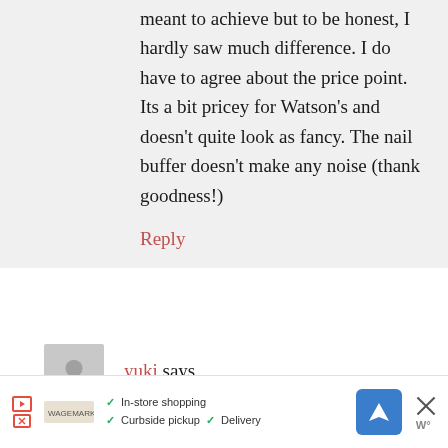meant to achieve but to be honest, I hardly saw much difference. I do have to agree about the price point. Its a bit pricey for Watson's and doesn't quite look as fancy. The nail buffer doesn't make any noise (thank goodness!)
Reply
yuki says
[Figure (screenshot): Advertisement bar showing In-store shopping, Curbside pickup, Delivery options with a navigation icon and close button]